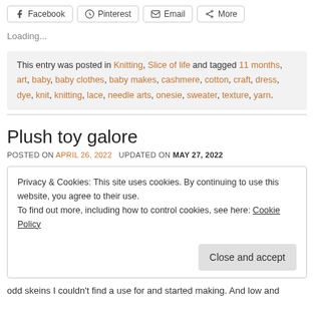Facebook | Pinterest | Email | More
Loading...
This entry was posted in Knitting, Slice of life and tagged 11 months, art, baby, baby clothes, baby makes, cashmere, cotton, craft, dress, dye, knit, knitting, lace, needle arts, onesie, sweater, texture, yarn.
Plush toy galore
POSTED ON APRIL 26, 2022   UPDATED ON MAY 27, 2022
Privacy & Cookies: This site uses cookies. By continuing to use this website, you agree to their use. To find out more, including how to control cookies, see here: Cookie Policy
odd skeins I couldn't find a use for and started making. And low and